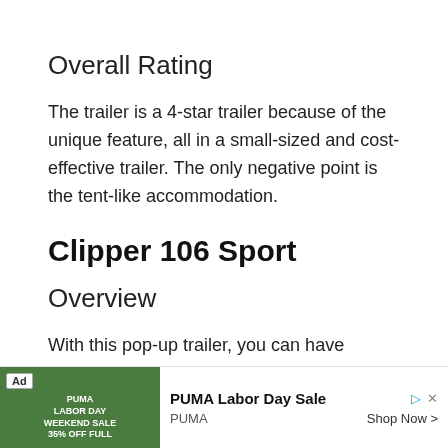Overall Rating
The trailer is a 4-star trailer because of the unique feature, all in a small-sized and cost-effective trailer. The only negative point is the tent-like accommodation.
Clipper 106 Sport
Overview
With this pop-up trailer, you can have enough sleeping space. This is because the pop-ups are beds themselves. The trailer has everything you need for a small trailer with a
[Figure (other): Advertisement banner: PUMA Labor Day Sale ad with image of PUMA products on green background, Shop Now button, and close/play controls.]